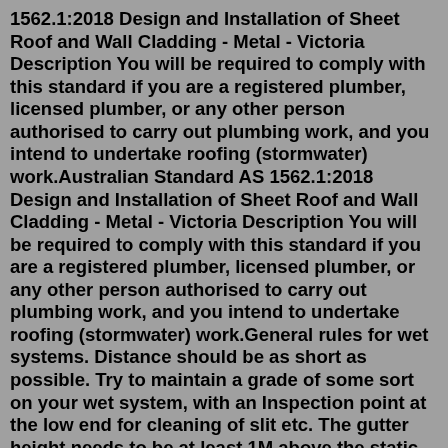1562.1:2018 Design and Installation of Sheet Roof and Wall Cladding - Metal - Victoria Description You will be required to comply with this standard if you are a registered plumber, licensed plumber, or any other person authorised to carry out plumbing work, and you intend to undertake roofing (stormwater) work.Australian Standard AS 1562.1:2018 Design and Installation of Sheet Roof and Wall Cladding - Metal - Victoria Description You will be required to comply with this standard if you are a registered plumber, licensed plumber, or any other person authorised to carry out plumbing work, and you intend to undertake roofing (stormwater) work.General rules for wet systems. Distance should be as short as possible. Try to maintain a grade of some sort on your wet system, with an Inspection point at the low end for cleaning of slit etc. The gutter height needs to be at least 1M above the static waterline (in your case the gutter line) to allow for water surge during periods of intense ...Jul 01, 2016 · The municipal separate storm